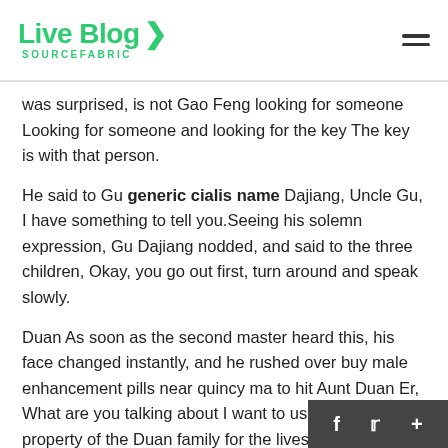Live Blog SOURCEFABRIC
was surprised, is not Gao Feng looking for someone Looking for someone and looking for the key The key is with that person.
He said to Gu generic cialis name Dajiang, Uncle Gu, I have something to tell you.Seeing his solemn expression, Gu Dajiang nodded, and said to the three children, Okay, you go out first, turn around and speak slowly.
Duan As soon as the second master heard this, his face changed instantly, and he rushed over buy male enhancement pills near quincy ma to hit Aunt Duan Er, What are you talking about I want to use all the property of the Duan family for the lives of our family of generic cialis name three.